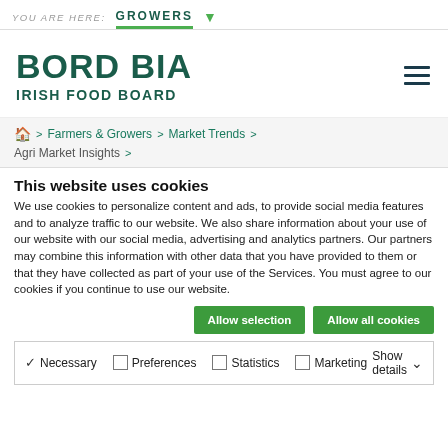YOU ARE HERE: GROWERS
[Figure (logo): Bord Bia Irish Food Board logo with hamburger menu icon]
🏠 > Farmers & Growers > Market Trends > Agri Market Insights >
This website uses cookies
We use cookies to personalize content and ads, to provide social media features and to analyze traffic to our website. We also share information about your use of our website with our social media, advertising and analytics partners. Our partners may combine this information with other data that you have provided to them or that they have collected as part of your use of the Services. You must agree to our cookies if you continue to use our website.
Allow selection | Allow all cookies
✓ Necessary  □ Preferences  □ Statistics  □ Marketing  Show details ▾